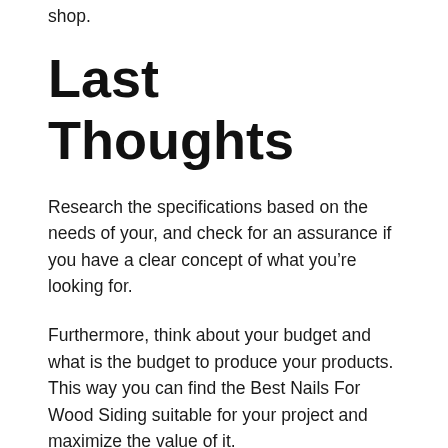shop.
Last Thoughts
Research the specifications based on the needs of your, and check for an assurance if you have a clear concept of what you’re looking for.
Furthermore, think about your budget and what is the budget to produce your products. This way you can find the Best Nails For Wood Siding suitable for your project and maximize the value of it.
Remember, the main thing that matters is that you have an understanding of your needs, follow that up with a plan